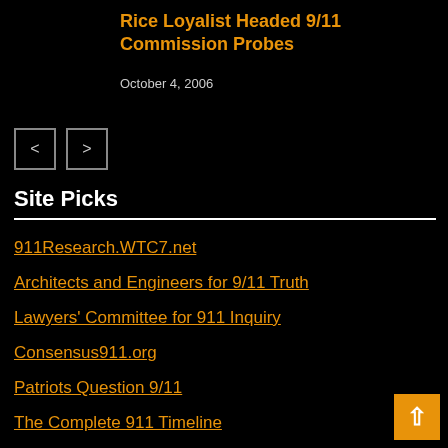Rice Loyalist Headed 9/11 Commission Probes
October 4, 2006
[Figure (other): Navigation buttons: previous (<) and next (>)]
Site Picks
911Research.WTC7.net
Architects and Engineers for 9/11 Truth
Lawyers' Committee for 911 Inquiry
Consensus911.org
Patriots Question 9/11
The Complete 911 Timeline